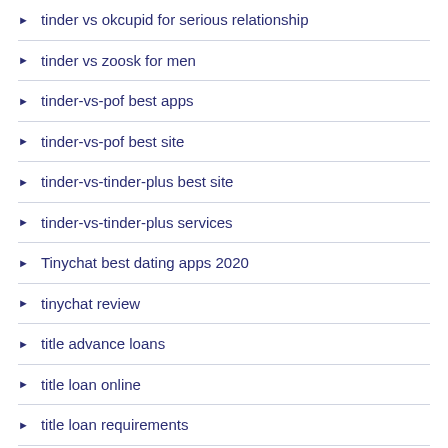tinder vs okcupid for serious relationship
tinder vs zoosk for men
tinder-vs-pof best apps
tinder-vs-pof best site
tinder-vs-tinder-plus best site
tinder-vs-tinder-plus services
Tinychat best dating apps 2020
tinychat review
title advance loans
title loan online
title loan requirements
title loans near me now